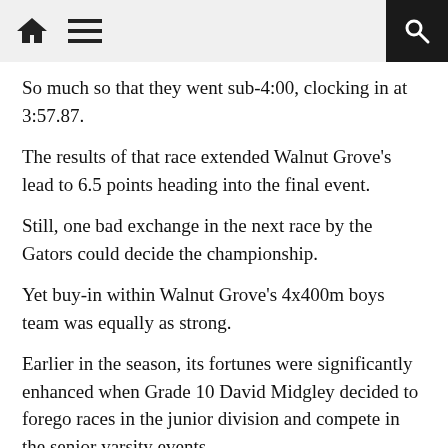[Home] [Menu] [Search]
So much so that they went sub-4:00, clocking in at 3:57.87.
The results of that race extended Walnut Grove's lead to 6.5 points heading into the final event.
Still, one bad exchange in the next race by the Gators could decide the championship.
Yet buy-in within Walnut Grove's 4x400m boys team was equally as strong.
Earlier in the season, its fortunes were significantly enhanced when Grade 10 David Midgley decided to forego races in the junior division and compete in the senior varsity events.
“This was something he did knowing he was giving up